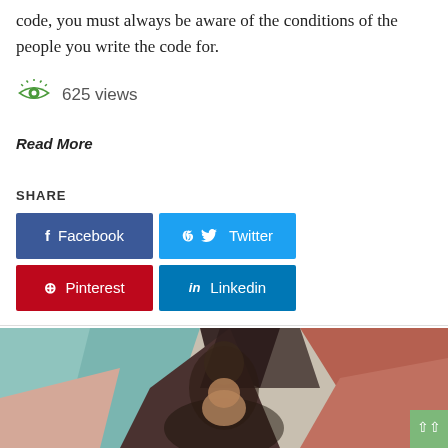code, you must always be aware of the conditions of the people you write the code for.
625 views
Read More
SHARE
Facebook | Twitter | Pinterest | Linkedin
[Figure (photo): Person smiling in front of a colorful geometric abstract background in shades of teal, brown, dark red, and peach.]